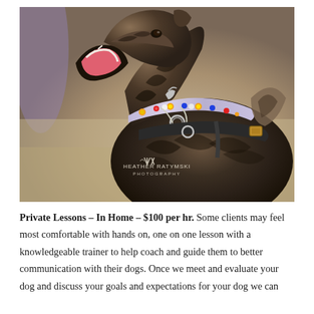[Figure (photo): Close-up photograph of a brindle dog with mouth open wide looking upward, wearing a colorful patterned collar and black harness. The dog appears to be catching a treat. Photo watermark reads 'HEATHER RATYMSKI PHOTOGRAPHY' in the lower center.]
Private Lessons – In Home – $100 per hr. Some clients may feel most comfortable with hands on, one on one lesson with a knowledgeable trainer to help coach and guide them to better communication with their dogs. Once we meet and evaluate your dog and discuss your goals and expectations for your dog we can